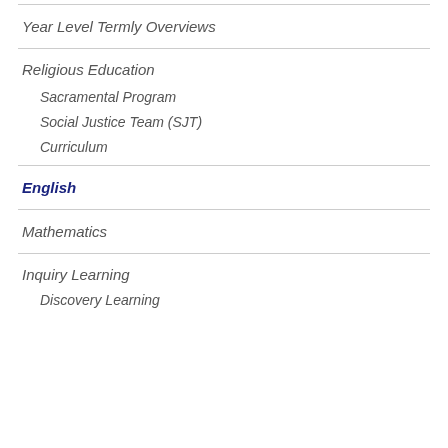Year Level Termly Overviews
Religious Education
Sacramental Program
Social Justice Team (SJT)
Curriculum
English
Mathematics
Inquiry Learning
Discovery Learning